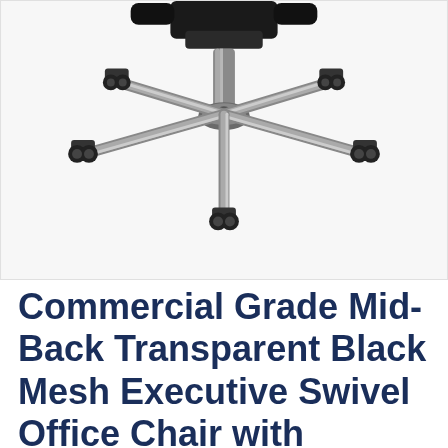[Figure (photo): Close-up photo of the bottom of an office chair showing a five-star chrome/silver base with five black caster wheels, and the lower portion of the chair seat mechanism visible at the top.]
Commercial Grade Mid-Back Transparent Black Mesh Executive Swivel Office Chair with Synchro-